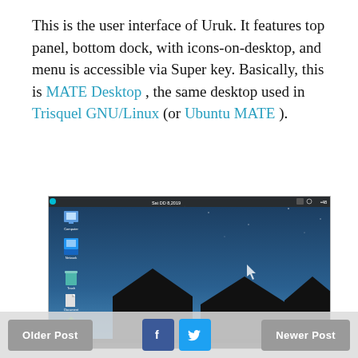This is the user interface of Uruk. It features top panel, bottom dock, with icons-on-desktop, and menu is accessible via Super key. Basically, this is MATE Desktop , the same desktop used in Trisquel GNU/Linux (or Ubuntu MATE ).
[Figure (screenshot): Screenshot of Uruk Linux MATE desktop showing a night-sky wallpaper with house silhouettes, desktop icons on the left (Computer, Network, Trash, a document, and Home), and a top panel with clock and system tray.]
Older Post | [Facebook] [Twitter] | Newer Post